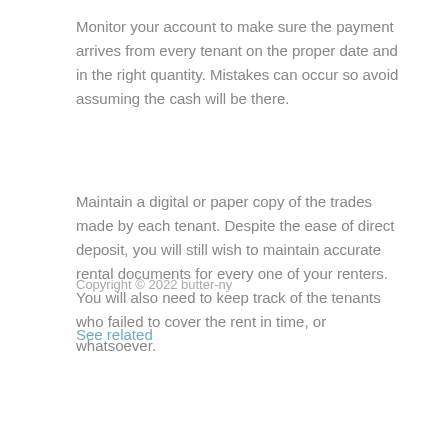Monitor your account to make sure the payment arrives from every tenant on the proper date and in the right quantity. Mistakes can occur so avoid assuming the cash will be there.
Maintain a digital or paper copy of the trades made by each tenant. Despite the ease of direct deposit, you will still wish to maintain accurate rental documents for every one of your renters. You will also need to keep track of the tenants who failed to cover the rent in time, or whatsoever.
See related
Copyright © 2022 butter-ny